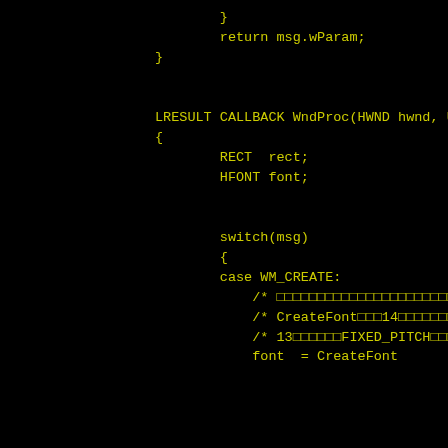[Figure (screenshot): Screenshot of C/C++ source code on a black background with yellow-green monospace text, showing a WndProc function definition with variable declarations and a switch statement beginning with case WM_CREATE, including CreateFont call with partial arguments visible.]